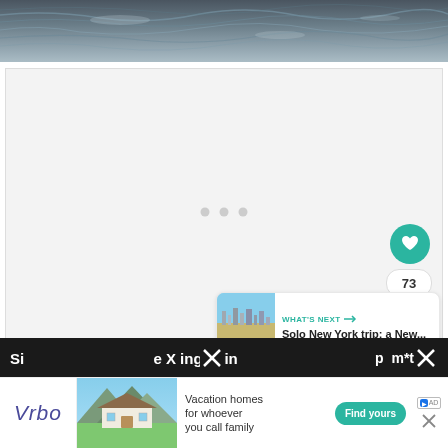[Figure (photo): Dark water surface or ocean waves, grey-blue tones, close-up texture]
[Figure (screenshot): White/light grey content area with three small grey dots centered, indicating a loading or empty state, with social interaction buttons (heart/like button in teal, count badge showing 73, share button) on the right side]
[Figure (screenshot): What's Next card showing thumbnail of city and text 'Solo New York trip; a New...' with teal arrow label WHAT'S NEXT]
[Figure (screenshot): Advertisement banner for Vrbo vacation homes with house image, text 'Vacation homes for whoever you call family', Find yours CTA button, and close/ad label icons]